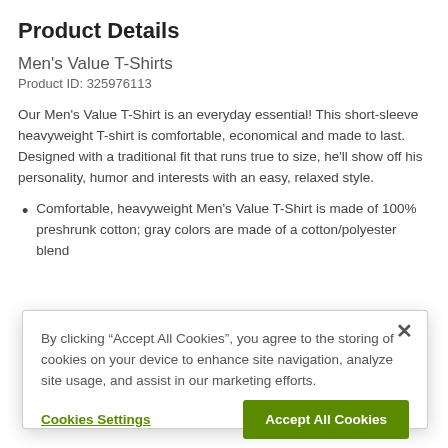Product Details
Men's Value T-Shirts
Product ID: 325976113
Our Men's Value T-Shirt is an everyday essential! This short-sleeve heavyweight T-shirt is comfortable, economical and made to last. Designed with a traditional fit that runs true to size, he'll show off his personality, humor and interests with an easy, relaxed style.
Comfortable, heavyweight Men's Value T-Shirt is made of 100% preshrunk cotton; gray colors are made of a cotton/polyester blend
By clicking “Accept All Cookies”, you agree to the storing of cookies on your device to enhance site navigation, analyze site usage, and assist in our marketing efforts.
Cookies Settings
Accept All Cookies